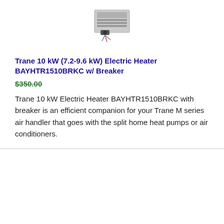[Figure (photo): Trane electric heater unit product photo]
Trane 10 kW (7.2-9.6 kW) Electric Heater BAYHTR1510BRKC w/ Breaker
$350.00
Trane 10 kW Electric Heater BAYHTR1510BRKC with breaker is an efficient companion for your Trane M series air handler that goes with the split home heat pumps or air conditioners.
[Figure (photo): RGF REME HALO In-Duct Air Purifier product photo (empty/placeholder)]
RGF® REME HALO® In-Duct Air Purifier for Entire Home ($1299)
$1,299.00